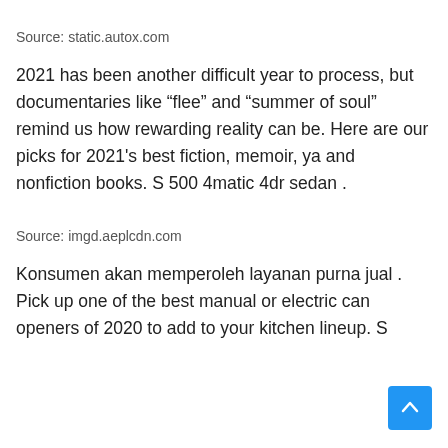Source: static.autox.com
2021 has been another difficult year to process, but documentaries like “flee” and “summer of soul” remind us how rewarding reality can be. Here are our picks for 2021's best fiction, memoir, ya and nonfiction books. S 500 4matic 4dr sedan .
Source: imgd.aeplcdn.com
Konsumen akan memperoleh layanan purna jual . Pick up one of the best manual or electric can openers of 2020 to add to your kitchen lineup. S